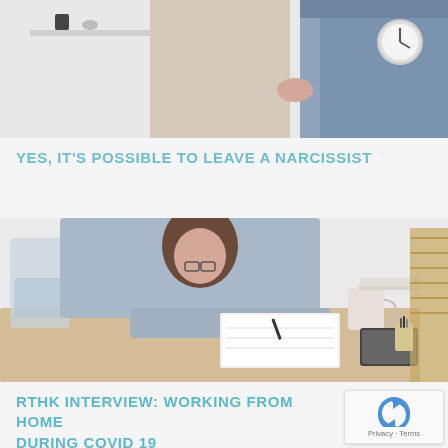[Figure (photo): Two people standing in a light-colored kitchen or living space, partial torsos visible, one wearing a beige top and the other jeans.]
YES, IT'S POSSIBLE TO LEAVE A NARCISSIST
[Figure (photo): A woman with short brown hair and glasses leaning over a desk, writing in a notebook, with papers, a mug, a tablet, and office supplies on the desk.]
RTHK INTERVIEW: WORKING FROM HOME DURING COVID 19